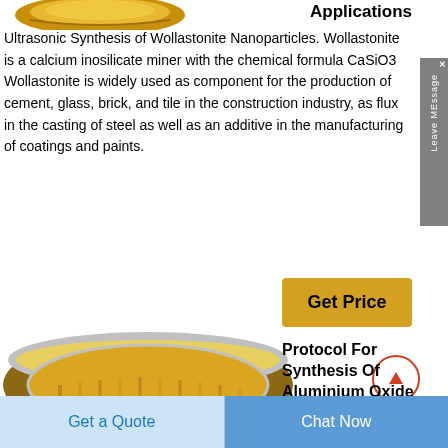Applications
Ultrasonic Synthesis of Wollastonite Nanoparticles. Wollastonite is a calcium inosilicate mineral with the chemical formula CaSiO3 Wollastonite is widely used as component for the production of cement, glass, brick, and tile in the construction industry, as flux in the casting of steel as well as an additive in the manufacturing of coatings and paints.
[Figure (photo): Gold/bronze colored metallic ring or coupling component viewed from above]
[Figure (photo): Gold/bronze colored metallic bowl or bushing viewed from above showing interior]
Protocol For Synthesis Of Aluminium Oxide
Get Price
Get a Quote
Chat Now